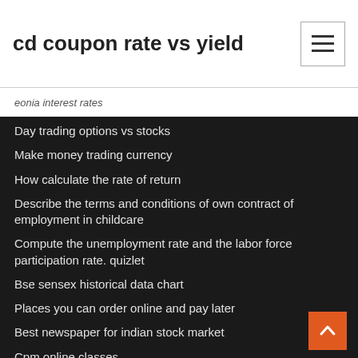cd coupon rate vs yield
eonia interest rates
Day trading options vs stocks
Make money trading currency
How calculate the rate of return
Describe the terms and conditions of own contract of employment in childcare
Compute the unemployment rate and the labor force participation rate. quizlet
Bse sensex historical data chart
Places you can order online and pay later
Best newspaper for indian stock market
Cpm online classes